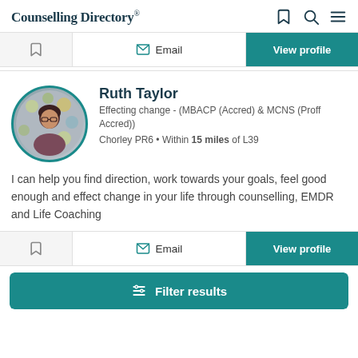Counselling Directory
[Figure (screenshot): Top action bar with bookmark/save icon, Email button with envelope icon, and teal View profile button]
[Figure (photo): Circular profile photo of Ruth Taylor, woman with glasses and dark hair]
Ruth Taylor
Effecting change - (MBACP (Accred) & MCNS (Proff Accred))
Chorley PR6 • Within 15 miles of L39
I can help you find direction, work towards your goals, feel good enough and effect change in your life through counselling, EMDR and Life Coaching
[Figure (screenshot): Bottom action bar with bookmark/save icon, Email button with envelope icon, and teal View profile button]
[Figure (screenshot): Teal Filter results button at the bottom of the page]